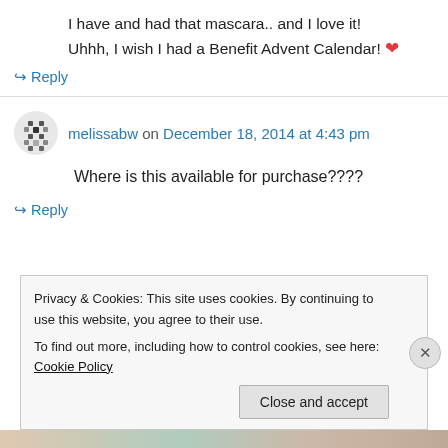I have and had that mascara.. and I love it! Uhhh, I wish I had a Benefit Advent Calendar! ❤
↪ Reply
melissabw on December 18, 2014 at 4:43 pm
Where is this available for purchase????
↪ Reply
Privacy & Cookies: This site uses cookies. By continuing to use this website, you agree to their use.
To find out more, including how to control cookies, see here: Cookie Policy
Close and accept